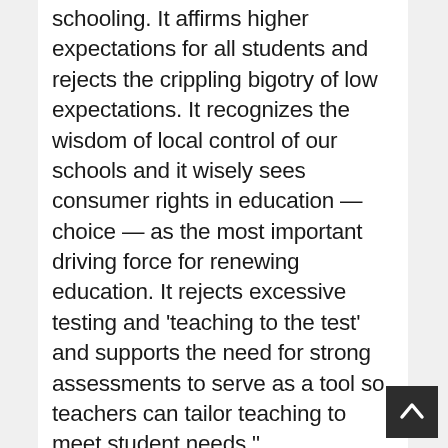schooling. It affirms higher expectations for all students and rejects the crippling bigotry of low expectations. It recognizes the wisdom of local control of our schools and it wisely sees consumer rights in education — choice — as the most important driving force for renewing education. It rejects excessive testing and 'teaching to the test' and supports the need for strong assessments to serve as a tool so teachers can tailor teaching to meet student needs."
https://prod-static-ngop-pblsa.amazonaws.com/media/docu